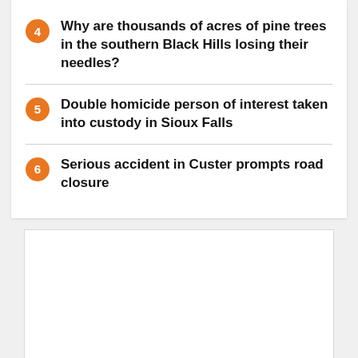4 Why are thousands of acres of pine trees in the southern Black Hills losing their needles?
5 Double homicide person of interest taken into custody in Sioux Falls
6 Serious accident in Custer prompts road closure
[Figure (other): White rectangle/placeholder image area with light border]